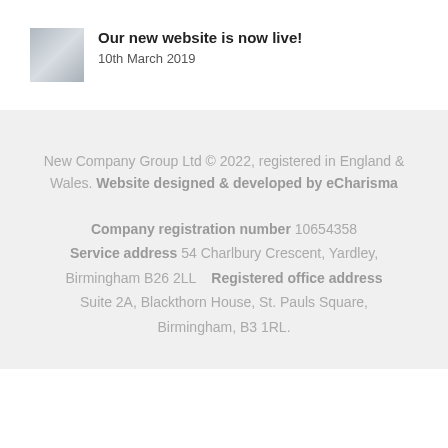[Figure (photo): Small thumbnail image showing a desk/laptop scene]
Our new website is now live!
10th March 2019
New Company Group Ltd © 2022, registered in England & Wales. Website designed & developed by eCharisma
Company registration number 10654358 Service address 54 Charlbury Crescent, Yardley, Birmingham B26 2LL   Registered office address Suite 2A, Blackthorn House, St. Pauls Square, Birmingham, B3 1RL.